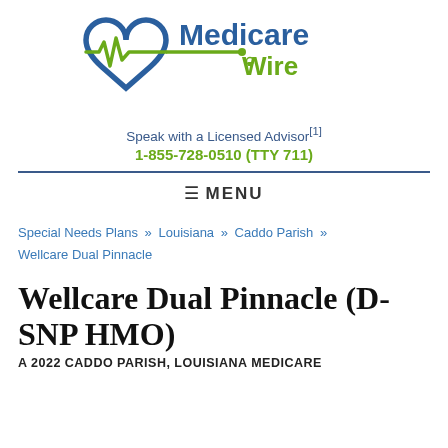[Figure (logo): Medicare Wire logo with blue heart and green EKG line and text 'Medicare Wire']
Speak with a Licensed Advisor[1]
1-855-728-0510 (TTY 711)
≡ MENU
Special Needs Plans » Louisiana » Caddo Parish » Wellcare Dual Pinnacle
Wellcare Dual Pinnacle (D-SNP HMO)
A 2022 CADDO PARISH, LOUISIANA MEDICARE